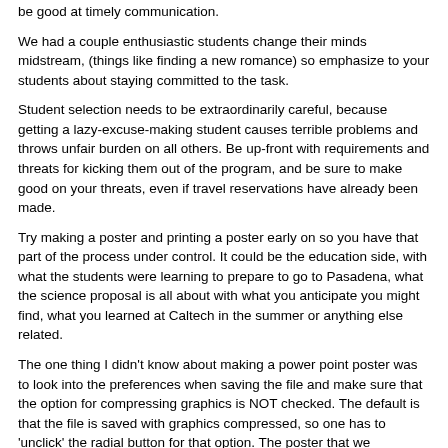be good at timely communication.
We had a couple enthusiastic students change their minds midstream, (things like finding a new romance) so emphasize to your students about staying committed to the task.
Student selection needs to be extraordinarily careful, because getting a lazy-excuse-making student causes terrible problems and throws unfair burden on all others. Be up-front with requirements and threats for kicking them out of the program, and be sure to make good on your threats, even if travel reservations have already been made.
Try making a poster and printing a poster early on so you have that part of the process under control. It could be the education side, with what the students were learning to prepare to go to Pasadena, what the science proposal is all about with what you anticipate you might find, what you learned at Caltech in the summer or anything else related.
The one thing I didn't know about making a power point poster was to look into the preferences when saving the file and make sure that the option for compressing graphics is NOT checked. The default is that the file is saved with graphics compressed, so one has to 'unclick' the radial button for that option. The poster that we displayed was actually saved as a huge jpg (42x42inches), without compression, and printed at the Kinkos/FedEx, or something like that. Trying to save it as a pdf, kept compressing the graphics which would make them fuzzy. I never tried saving it as a pdf without compression because the jpg choice worked.